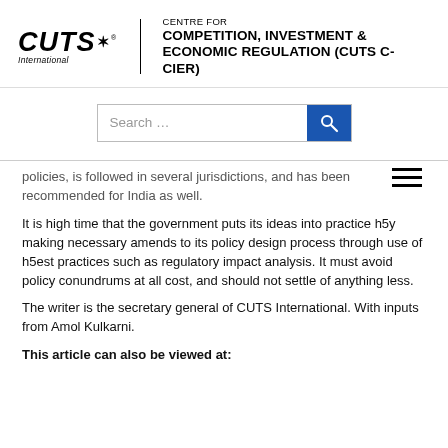CUTS International | CENTRE FOR COMPETITION, INVESTMENT & ECONOMIC REGULATION (CUTS C-CIER)
[Figure (other): Search bar with text 'Search ...' and blue search button]
[Figure (other): Hamburger menu icon (three horizontal lines)]
policies, is followed in several jurisdictions, and has been recommended for India as well.
It is high time that the government puts its ideas into practice h5y making necessary amends to its policy design process through use of h5est practices such as regulatory impact analysis. It must avoid policy conundrums at all cost, and should not settle of anything less.
The writer is the secretary general of CUTS International. With inputs from Amol Kulkarni.
This article can also be viewed at: